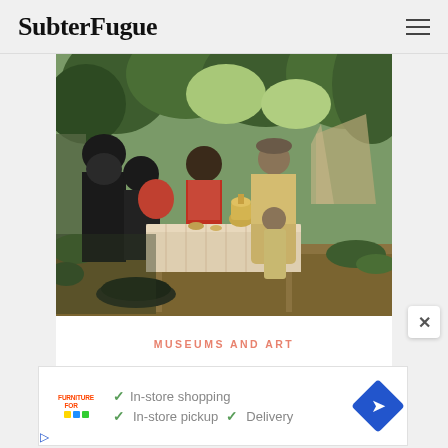SubterFugue
[Figure (photo): A classical painting depicting a group of people gathered around a table outdoors, with trees and a tent in the background. Scene shows figures in traditional clothing, with a samovar on the table, in a lush green setting.]
MUSEUMS AND ART
[Figure (other): Advertisement banner with furniture store logo, checkmarks listing: In-store shopping, In-store pickup, Delivery, and a blue diamond navigation icon.]